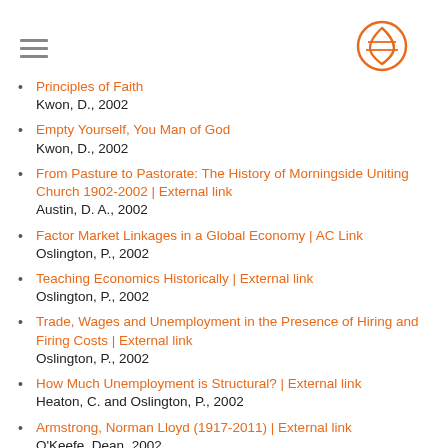[hamburger menu icon] [logo circle icon]
Principles of Faith
Kwon, D., 2002
Empty Yourself, You Man of God
Kwon, D., 2002
From Pasture to Pastorate: The History of Morningside Uniting Church 1902-2002 | External link
Austin, D. A., 2002
Factor Market Linkages in a Global Economy | AC Link
Oslington, P., 2002
Teaching Economics Historically | External link
Oslington, P., 2002
Trade, Wages and Unemployment in the Presence of Hiring and Firing Costs | External link
Oslington, P., 2002
How Much Unemployment is Structural? | External link
Heaton, C. and Oslington, P., 2002
Armstrong, Norman Lloyd (1917-2011) | External link
O'Keefe, Dean, 2002
Papua New Guinea
Doecke, P.J., 2001